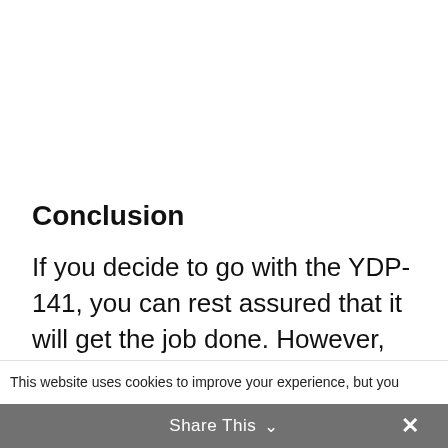Conclusion
If you decide to go with the YDP-141, you can rest assured that it will get the job done. However, don't expect it to go above and beyond the call of duty
This website uses cookies to improve your experience, but you
Share This ∨  ×